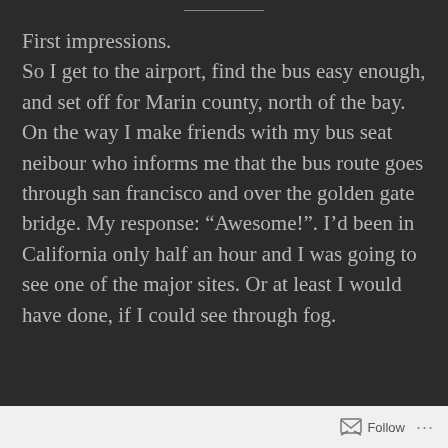First impressions.
So I get to the airport, find the bus easy enough, and set off for Marin county, north of the bay. On the way I make friends with my bus seat neibour who informs me that the bus route goes through san francisco and over the golden gate bridge. My response: “Awesome!”. I’d been in California only half an hour and I was going to see one of the major sites. Or at least I would have done, if I could see through fog.
Follow